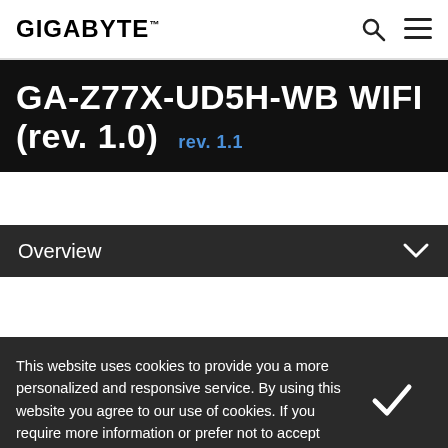GIGABYTE
GA-Z77X-UD5H-WB WIFI (rev. 1.0) rev. 1.1
Overview
[Figure (photo): Product box and motherboard image for GA-Z77X-UD5H-WB WIFI with 1/6 badge and 3D INDUSTRY button]
This website uses cookies to provide you a more personalized and responsive service. By using this website you agree to our use of cookies. If you require more information or prefer not to accept cookies please visit our Privacy Policy